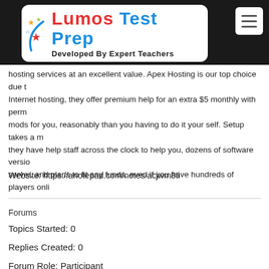[Figure (logo): Lumos Test Prep logo with 'Developed By Expert Teachers' subtitle on white background with star icons, inside dark header bar with hamburger menu button]
hosting services at an excellent value. Apex Hosting is our top choice due to Internet hosting, they offer premium help for an extra $5 monthly with perr mods for you, reasonably than you having to do it your self. Setup takes a m they have help staff across the clock to help you, dozens of software versio server, and plans to fit any funds, even if you have hundreds of players onli
Website: https://anotepad.com/notes/acjwm8ti
Forums
Topics Started: 0
Replies Created: 0
Forum Role: Participant